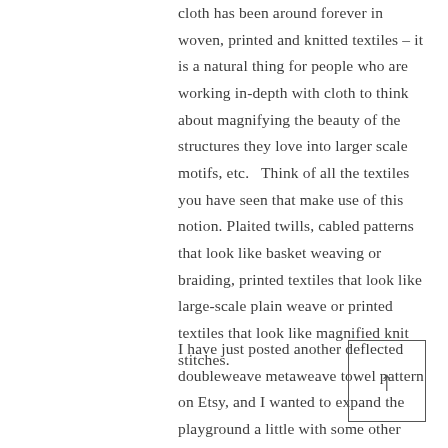cloth has been around forever in woven, printed and knitted textiles – it is a natural thing for people who are working in-depth with cloth to think about magnifying the beauty of the structures they love into larger scale motifs, etc.   Think of all the textiles you have seen that make use of this notion. Plaited twills, cabled patterns that look like basket weaving or braiding, printed textiles that look like large-scale plain weave or printed textiles that look like magnified knit stitches.
I have just posted another deflected doubleweave metaweave towel pattern on Etsy, and I wanted to expand the playground a little with some other structures/motifs. I
[Figure (other): A small box with an upward arrow icon, likely a scroll-to-top or navigation button]